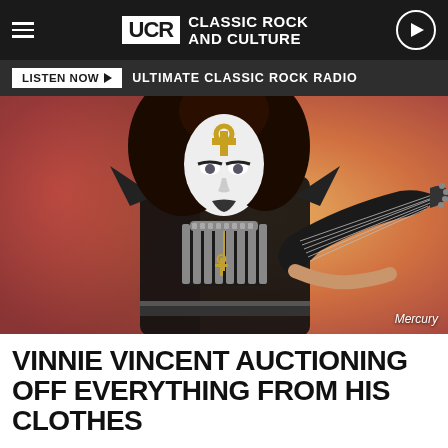UCR Classic Rock and Culture
LISTEN NOW  ULTIMATE CLASSIC ROCK RADIO
[Figure (photo): Vinnie Vincent in full KISS-era stage makeup and costume, holding an electric guitar against a warm orange/red background. He wears white face paint with gold ankh symbol on forehead, black costume with armor shoulders and studded belt. Credit: Mercury]
VINNIE VINCENT AUCTIONING OFF EVERYTHING FROM HIS CLOTHES